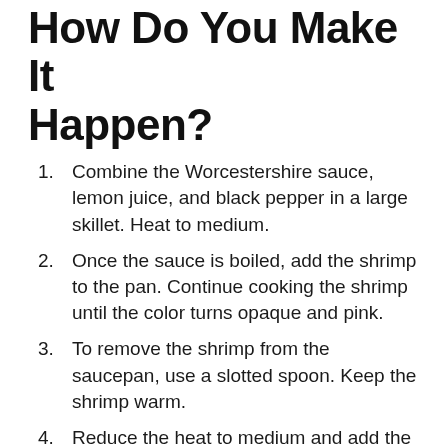How Do You Make It Happen?
Combine the Worcestershire sauce, lemon juice, and black pepper in a large skillet. Heat to medium.
Once the sauce is boiled, add the shrimp to the pan. Continue cooking the shrimp until the color turns opaque and pink.
To remove the shrimp from the saucepan, use a slotted spoon. Keep the shrimp warm.
Reduce the heat to medium and add the butter cubes one by one. Continue whisking, while still moving your fingers. Then, add the butter cubes one at a time. Wait for it to melt.
Once all the butter is melted and the sauce